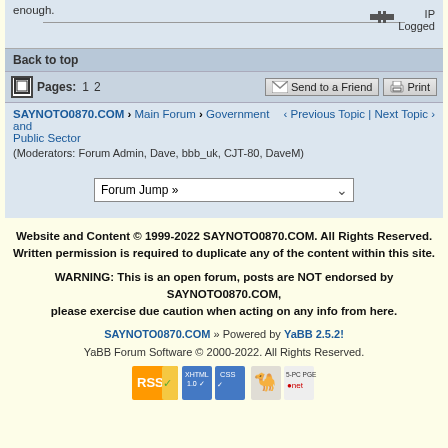enough.
IP Logged
Back to top
Pages: 1 2    Send to a Friend   Print
SAYNOTO0870.COM › Main Forum › Government and Public Sector  ‹ Previous Topic | Next Topic ›
(Moderators: Forum Admin, Dave, bbb_uk, CJT-80, DaveM)
Forum Jump »
Website and Content © 1999-2022 SAYNOTO0870.COM. All Rights Reserved. Written permission is required to duplicate any of the content within this site.
WARNING: This is an open forum, posts are NOT endorsed by SAYNOTO0870.COM, please exercise due caution when acting on any info from here.
SAYNOTO0870.COM » Powered by YaBB 2.5.2!
YaBB Forum Software © 2000-2022. All Rights Reserved.